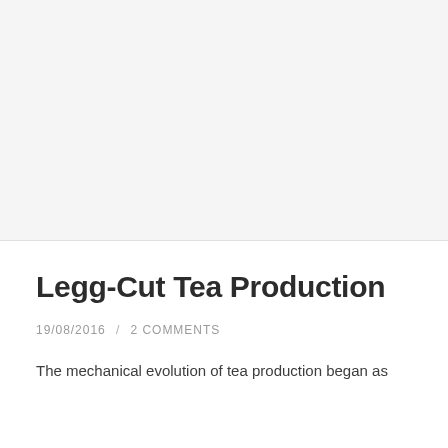[Figure (photo): Blank/white image placeholder area at the top of the page]
Legg-Cut Tea Production
19/08/2016 / 2 COMMENTS
The mechanical evolution of tea production began as